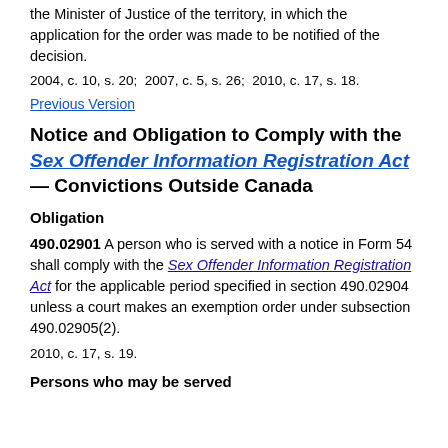the Minister of Justice of the territory, in which the application for the order was made to be notified of the decision.
2004, c. 10, s. 20;  2007, c. 5, s. 26;  2010, c. 17, s. 18.
Previous Version
Notice and Obligation to Comply with the Sex Offender Information Registration Act — Convictions Outside Canada
Obligation
490.02901 A person who is served with a notice in Form 54 shall comply with the Sex Offender Information Registration Act for the applicable period specified in section 490.02904 unless a court makes an exemption order under subsection 490.02905(2).
2010, c. 17, s. 19.
Persons who may be served